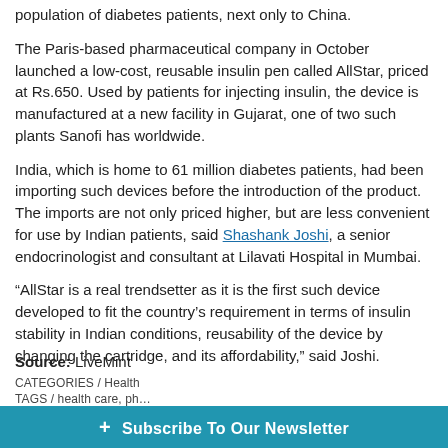population of diabetes patients, next only to China.
The Paris-based pharmaceutical company in October launched a low-cost, reusable insulin pen called AllStar, priced at Rs.650. Used by patients for injecting insulin, the device is manufactured at a new facility in Gujarat, one of two such plants Sanofi has worldwide.
India, which is home to 61 million diabetes patients, had been importing such devices before the introduction of the product. The imports are not only priced higher, but are less convenient for use by Indian patients, said Shashank Joshi, a senior endocrinologist and consultant at Lilavati Hospital in Mumbai.
“AllStar is a real trendsetter as it is the first such device developed to fit the country’s requirement in terms of insulin stability in Indian conditions, reusability of the device by changing the cartridge, and its affordability,” said Joshi.
Source: LiveMint
CATEGORIES / Health
TAGS / health care, ph…
+ Subscribe To Our Newsletter